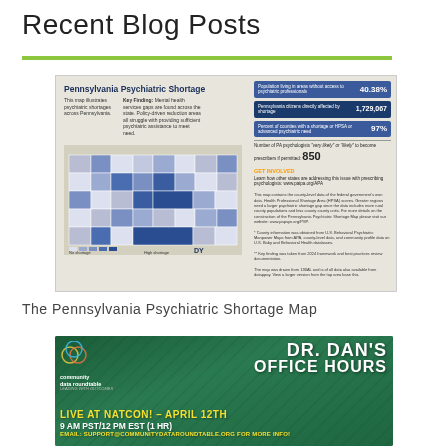Recent Blog Posts
[Figure (map): Pennsylvania Psychiatric Shortage map infographic showing psychiatric shortage areas across Pennsylvania counties, with statistics: 40.38% population living in areas without access to psychiatric professionals, 1,729,067 PA citizens directly affected by shortage, 97% of counties with a shortage or HPSA or advanced psychiatric need, and 850 PA psychologists very likely or likely to become prescribers if permitted. Includes a Get Involved section and Pennsylvania Psychological Association logo.]
The Pennsylvania Psychiatric Shortage Map
[Figure (photo): Community Data Roundtable promotional banner for Dr. Dan's Office Hours, Live at NatCon! – April 12th, 9 AM PST/12 PM EST (1 HR). Email: support@communitydataroundtable.org for more info. Dark green background with yellow and white text.]